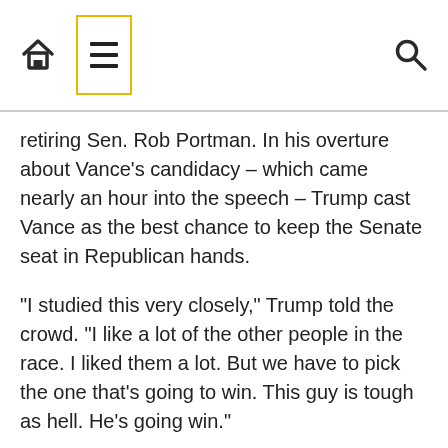[Navigation bar with home icon, menu icon, search icon]
retiring Sen. Rob Portman. In his overture about Vance's candidacy – which came nearly an hour into the speech – Trump cast Vance as the best chance to keep the Senate seat in Republican hands.
“I studied this very closely,” Trump told the crowd. “I like a lot of the other people in the race. I liked them a lot. But we have to pick the one that’s going to win. This guy is tough as hell. He’s going win.”
Trump’s decision was a blow to other candidates in the race who spent months clamoring for his support: former state treasurer Josh Mandel, investment banker Mike Gibbons and former Ohio Republican Party chair Jane Timken. Only state Sen. Matt Dolan, who Trump empathically said he would